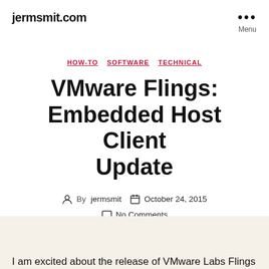jermsmit.com
HOW-TO  SOFTWARE  TECHNICAL
VMware Flings: Embedded Host Client Update
By jermsmit   October 24, 2015   No Comments
I am excited about the release of VMware Labs Flings